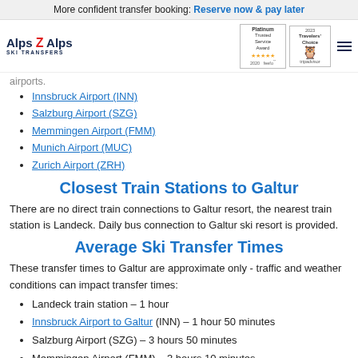More confident transfer booking: Reserve now & pay later
airports.
Innsbruck Airport (INN)
Salzburg Airport (SZG)
Memmingen Airport (FMM)
Munich Airport (MUC)
Zurich Airport (ZRH)
Closest Train Stations to Galtur
There are no direct train connections to Galtur resort, the nearest train station is Landeck. Daily bus connection to Galtur ski resort is provided.
Average Ski Transfer Times
These transfer times to Galtur are approximate only - traffic and weather conditions can impact transfer times:
Landeck train station – 1 hour
Innsbruck Airport to Galtur (INN) – 1 hour 50 minutes
Salzburg Airport (SZG) – 3 hours 50 minutes
Memmingen Airport (FMM) – 3 hours 10 minutes